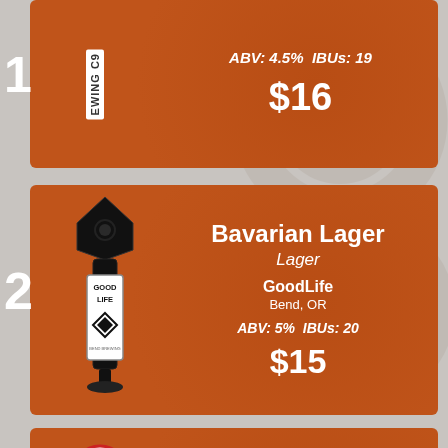ABV: 4.5%  IBUs: 19
$16
Bavarian Lager
Lager
GoodLife
Bend, OR
ABV: 5%  IBUs: 20
$15
Helles
Lager
Buoy Beer
Astoria, OR
ABV: 5.2%  IBUs: 19